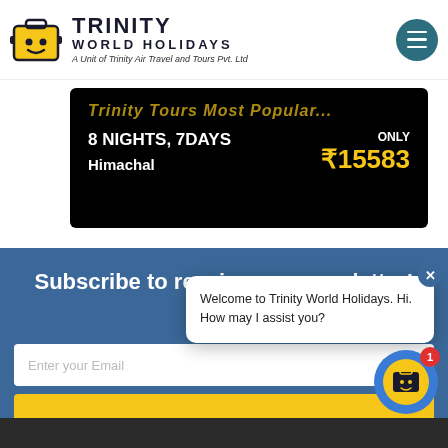[Figure (logo): Trinity World Holidays logo with yellow suitcase icon, company name and tagline]
8 NIGHTS, 7DAYS
Himachal
ONLY
₹15583
Subscribe to receive our newsletter!
Enter your Email
[Figure (screenshot): Chat popup: Welcome to Trinity World Holidays. Hi. How may I assist you?]